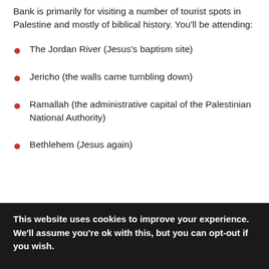Bank is primarily for visiting a number of tourist spots in Palestine and mostly of biblical history. You'll be attending:
The Jordan River (Jesus's baptism site)
Jericho (the walls came tumbling down)
Ramallah (the administrative capital of the Palestinian National Authority)
Bethlehem (Jesus again)
This website uses cookies to improve your experience. We'll assume you're ok with this, but you can opt-out if you wish.